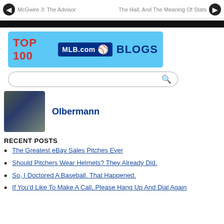McGwire 3: The Advisor | The Hall, And The Meaning Of Stats
[Figure (logo): TOP 100 MLB.com BLOGS banner on light blue background]
Search bar
[Figure (photo): Profile photo of Olbermann]
Olbermann
RECENT POSTS
The Greatest eBay Sales Pitches Ever
Should Pitchers Wear Helmets? They Already Did.
So, I Doctored A Baseball. That Happened.
If You'd Like To Make A Call, Please Hang Up And Dial Again